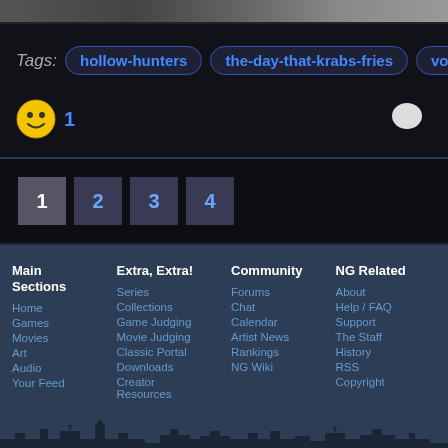[Figure (screenshot): Top image strip showing partial game/media thumbnails]
Tags: hollow-hunters  the-day-that-krabs-fries  vortox
😊 1
Page navigation: 1 2 3 4
Main Sections
Home
Games
Movies
Art
Audio
Your Feed
Extra, Extra!
Series
Collections
Game Judging
Movie Judging
Classic Portal
Downloads
Creator Resources
Community
Forums
Chat
Calendar
Artist News
Rankings
NG Wiki
NG Related
About
Help / FAQ
Support
The Staff
History
RSS
Copyright
[Figure (illustration): City skyline silhouette at bottom of page]